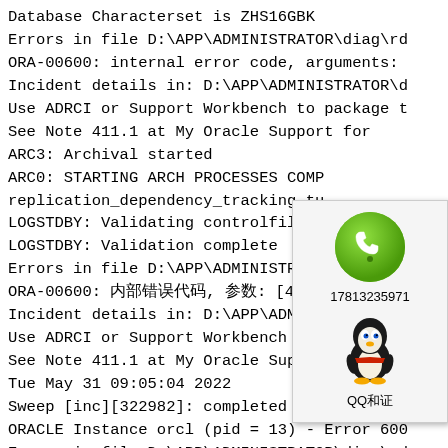Database Characterset is ZHS16GBK
Errors in file D:\APP\ADMINISTRATOR\diag\rd
ORA-00600: internal error code, arguments:
Incident details in: D:\APP\ADMINISTRATOR\d
Use ADRCI or Support Workbench to package t
See Note 411.1 at My Oracle Support for
ARC3: Archival started
ARC0: STARTING ARCH PROCESSES COMP
replication_dependency_tracking tu
LOGSTDBY: Validating controlfile w
LOGSTDBY: Validation complete
Errors in file D:\APP\ADMINISTRATO
ORA-00600: ??????, ??: [4194], [
Incident details in: D:\APP\ADMINI
Use ADRCI or Support Workbench to package t
See Note 411.1 at My Oracle Support for err
Tue May 31 09:05:04 2022
Sweep [inc][322982]: completed
ORACLE Instance orcl (pid = 13) - Error 600
Errors in file D:\APP\ADMINISTRATOR\diag\rd
ORA-00600: internal error code, arguments:
Checker run found 1 new persistent data fa
[Figure (illustration): A popup widget showing a green phone icon with telephone handset, the number 17813235971, a QQ penguin mascot icon, and the label 'QQ咨询'.]